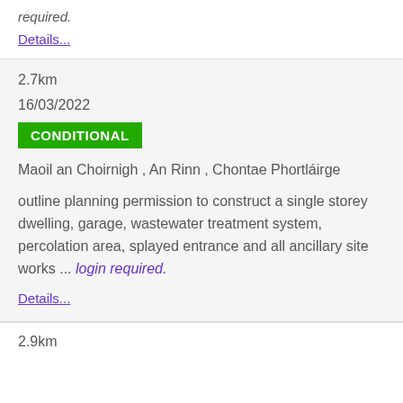required.
Details...
2.7km
16/03/2022
CONDITIONAL
Maoil an Choirnigh , An Rinn , Chontae Phortláirge
outline planning permission to construct a single storey dwelling, garage, wastewater treatment system, percolation area, splayed entrance and all ancillary site works ... login required.
Details...
2.9km